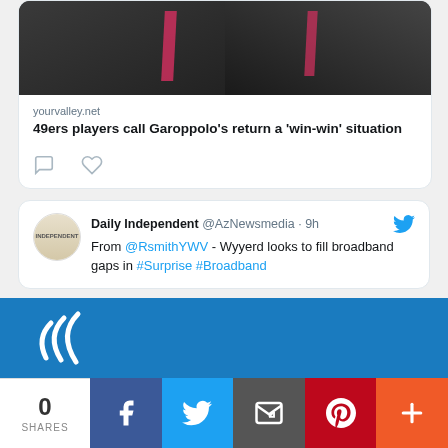[Figure (screenshot): Partial Twitter/news card showing athlete photo with 49ers story: 'yourvalley.net - 49ers players call Garoppolo's return a win-win situation' with comment and like icons below]
[Figure (screenshot): Twitter post from Daily Independent @AzNewsmedia 9h: 'From @RsmithYWV - Wyyerd looks to fill broadband gaps in #Surprise #Broadband' with Twitter bird icon]
[Figure (logo): White curved swoosh logo on blue banner background]
0
SHARES
[Figure (infographic): Social share bar with Facebook (blue), Twitter (light blue), Email (dark grey), Pinterest (red), and More (orange) buttons]